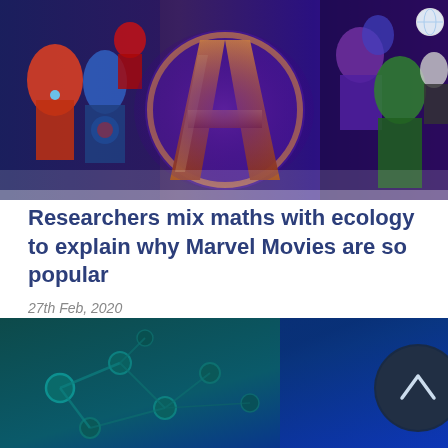[Figure (photo): Avengers Infinity War movie poster showing Marvel superheroes with the Avengers logo in the center]
Researchers mix maths with ecology to explain why Marvel Movies are so popular
27th Feb, 2020
ACEMS researchers set out to quantify 'why' the Marvel Cinematic Universe is so popular. They used statistical methods and even borrowed an approached used in ecology to carry out their research.
[Figure (photo): Teal/blue molecular or scientific imagery at the bottom of the page]